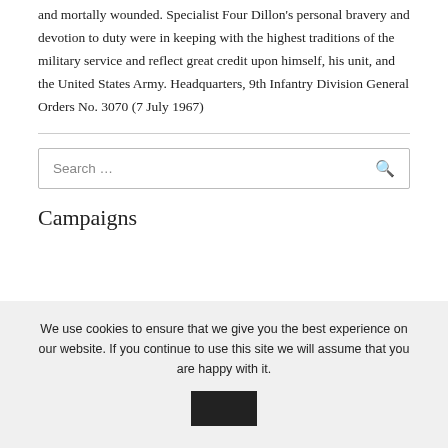and mortally wounded. Specialist Four Dillon's personal bravery and devotion to duty were in keeping with the highest traditions of the military service and reflect great credit upon himself, his unit, and the United States Army. Headquarters, 9th Infantry Division General Orders No. 3070 (7 July 1967)
[Figure (other): Search box with magnifying glass icon]
Campaigns
We use cookies to ensure that we give you the best experience on our website. If you continue to use this site we will assume that you are happy with it.